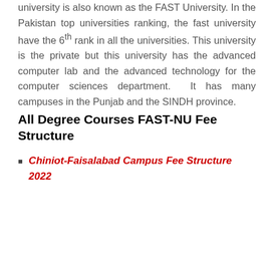university is also known as the FAST University. In the Pakistan top universities ranking, the fast university have the 6th rank in all the universities. This university is the private but this university has the advanced computer lab and the advanced technology for the computer sciences department. It has many campuses in the Punjab and the SINDH province.
All Degree Courses FAST-NU Fee Structure
Chiniot-Faisalabad Campus Fee Structure 2022